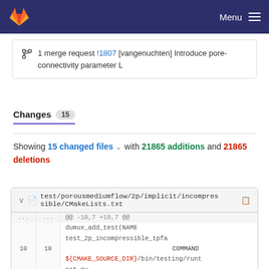Menu
1 merge request !1807 [vangenuchten] Introduce pore-connectivity parameter L
Changes 15
Showing 15 changed files with 21865 additions and 21865 deletions
test/porousmediumflow/2p/implicit/incompressible/CMakeLists.txt
| old line | new line | code |
| --- | --- | --- |
| ... | ... | @@ -10,7 +10,7 @@ |
|  |  | dumux_add_test(NAME |
|  |  | test_2p_incompressible_tpfa |
| 10 | 10 | COMMAND |
|  |  | ${CMAKE_SOURCE_DIR}/bin/testing/runt |
|  |  | est_py |